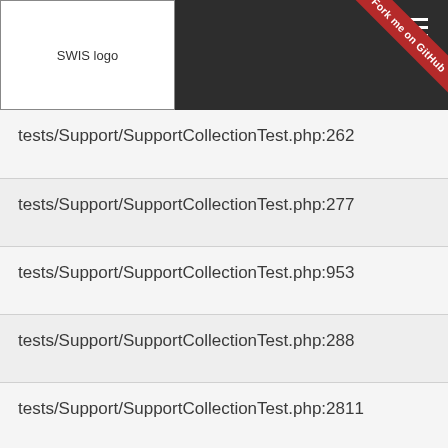SWIS logo
tests/Support/SupportCollectionTest.php:262
tests/Support/SupportCollectionTest.php:277
tests/Support/SupportCollectionTest.php:953
tests/Support/SupportCollectionTest.php:288
tests/Support/SupportCollectionTest.php:2811